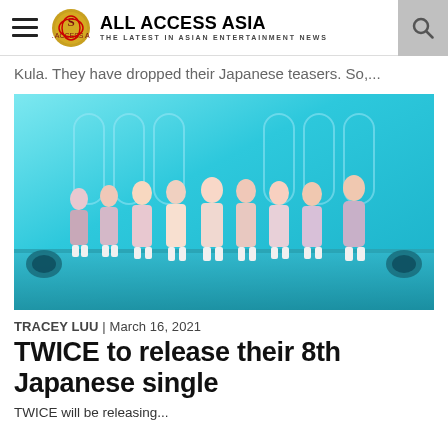ALL ACCESS ASIA – THE LATEST IN ASIAN ENTERTAINMENT NEWS
Kula. They have dropped their Japanese teasers. So,...
[Figure (photo): TWICE K-pop girl group performing on stage with teal/cyan background, members in pastel outfits]
TRACEY LUU | March 16, 2021
TWICE to release their 8th Japanese single
TWICE will be releasing...